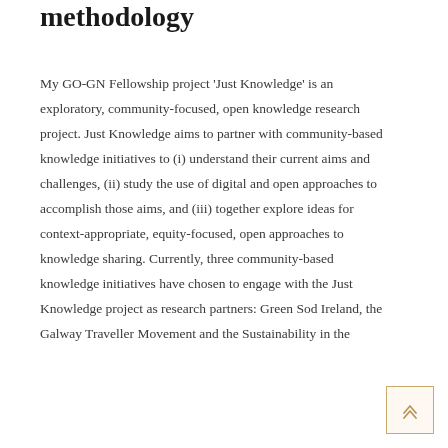methodology
My GO-GN Fellowship project 'Just Knowledge' is an exploratory, community-focused, open knowledge research project. Just Knowledge aims to partner with community-based knowledge initiatives to (i) understand their current aims and challenges, (ii) study the use of digital and open approaches to accomplish those aims, and (iii) together explore ideas for context-appropriate, equity-focused, open approaches to knowledge sharing. Currently, three community-based knowledge initiatives have chosen to engage with the Just Knowledge project as research partners: Green Sod Ireland, the Galway Traveller Movement and the Sustainability in the